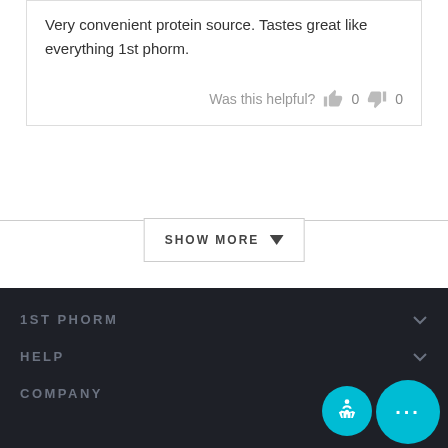Very convenient protein source. Tastes great like everything 1st phorm.
Was this helpful?  👍 0  👎 0
SHOW MORE ▼
1ST PHORM
HELP
COMPANY
[Figure (illustration): Accessibility icon button (circular teal) and chat button (circular teal with ellipsis) in bottom right corner]